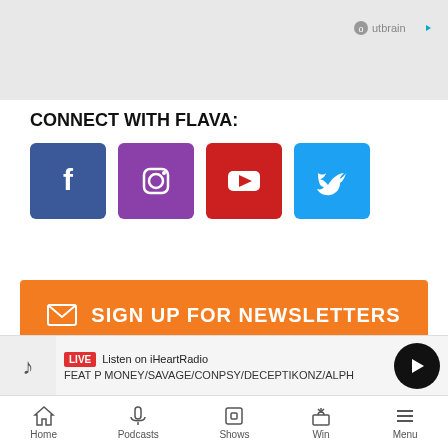[Figure (logo): Outbrain logo in top right of gray banner]
CONNECT WITH FLAVA:
[Figure (infographic): Social media icons: Facebook (blue), Instagram (purple), YouTube (red), Twitter (light blue)]
[Figure (infographic): Orange newsletter signup button with envelope icon and text SIGN UP FOR NEWSLETTERS]
[Figure (screenshot): iHeartRadio widget showing Kanye West with LISTEN button]
[Figure (infographic): LIVE player bar: Listen on iHeartRadio, FEAT P MONEY/SAVAGE/CONPSY/DECEPTIKONZ/ALPH]
Home   Podcasts   Shows   Win   Menu